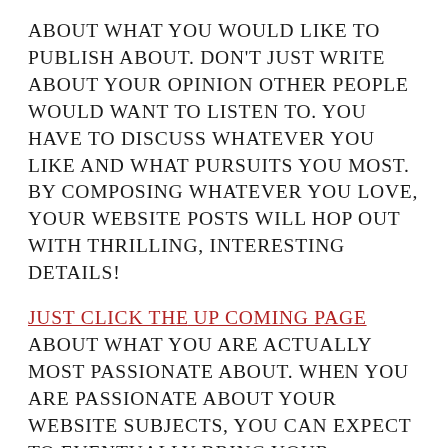ABOUT WHAT YOU WOULD LIKE TO PUBLISH ABOUT. DON'T JUST WRITE ABOUT YOUR OPINION OTHER PEOPLE WOULD WANT TO LISTEN TO. YOU HAVE TO DISCUSS WHATEVER YOU LIKE AND WHAT PURSUITS YOU MOST. BY COMPOSING WHATEVER YOU LOVE, YOUR WEBSITE POSTS WILL HOP OUT WITH THRILLING, INTERESTING DETAILS!
JUST CLICK THE UP COMING PAGE ABOUT WHAT YOU ARE ACTUALLY MOST PASSIONATE ABOUT. WHEN YOU ARE PASSIONATE ABOUT YOUR WEBSITE SUBJECTS, YOU CAN EXPECT TO EVENTUALLY BRING YOUR POTENTIAL CUSTOMERS IN PLUS YOUR FASCINATION WITH THE TOPIC WILL DEMONSTRATE BY MEANS OF.